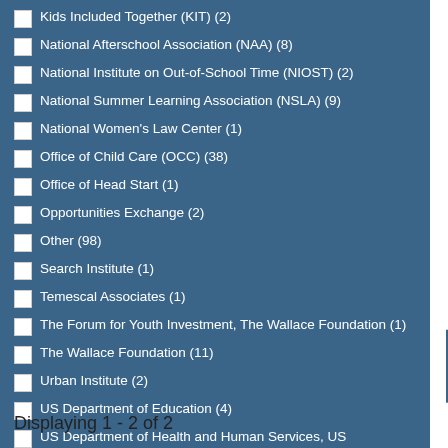Kids Included Together (KIT) (2)
National Afterschool Association (NAA) (8)
National Institute on Out-of-School Time (NIOST) (2)
National Summer Learning Association (NSLA) (9)
National Women's Law Center (1)
Office of Child Care (OCC) (38)
Office of Head Start (1)
Opportunities Exchange (2)
Other (98)
Search Institute (1)
Temescal Associates (1)
The Forum for Youth Investment, The Wallace Foundation (1)
The Wallace Foundation (11)
Urban Institute (2)
US Department of Education (4)
US Department of Health and Human Services, US Department of Education (3)
Displaying 1 - 2 of 2